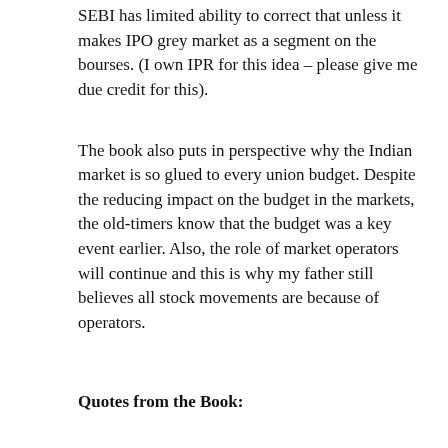SEBI has limited ability to correct that unless it makes IPO grey market as a segment on the bourses. (I own IPR for this idea – please give me due credit for this).
The book also puts in perspective why the Indian market is so glued to every union budget. Despite the reducing impact on the budget in the markets, the old-timers know that the budget was a key event earlier. Also, the role of market operators will continue and this is why my father still believes all stock movements are because of operators.
Quotes from the Book:
Experience tells me that it is a good sign to have some disbelievers.